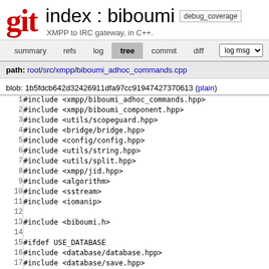Git index : biboumi debug_coverage
XMPP to IRC gateway, in C++.
summary  refs  log  tree  commit  diff  log msg
path: root/src/xmpp/biboumi_adhoc_commands.cpp
blob: 1b5fdcb642d32426911dfa97cc91947427370613 (plain)
1  #include <xmpp/biboumi_adhoc_commands.hpp>
2  #include <xmpp/biboumi_component.hpp>
3  #include <utils/scopeguard.hpp>
4  #include <bridge/bridge.hpp>
5  #include <config/config.hpp>
6  #include <utils/string.hpp>
7  #include <utils/split.hpp>
8  #include <xmpp/jid.hpp>
9  #include <algorithm>
10 #include <sstream>
11 #include <iomanip>
12
13 #include <biboumi.h>
14
15 #ifdef USE_DATABASE
16 #include <database/database.hpp>
17 #include <database/save.hpp>